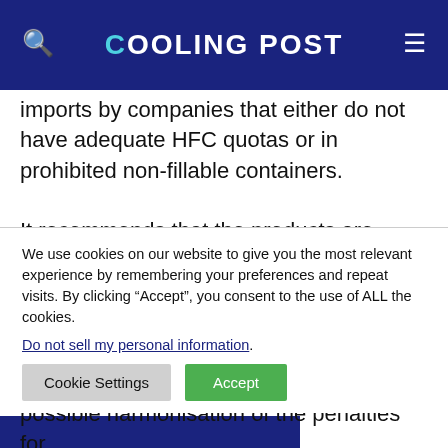COOLING POST
and disposal of the illegal HFCs. The paper details the number of violations and the types of illegal imports, including imports by companies that either do not have adequate HFC quotas or in prohibited non-fillable containers.
It recommends that the products are initially placed in quarantine and then one of several options considered: destruction, auctioning it to legitimate quota holders or returning the product to the country of origin. A re-evaluation and possible harmonisation of the penalties for
We use cookies on our website to give you the most relevant experience by remembering your preferences and repeat visits. By clicking “Accept”, you consent to the use of ALL the cookies.
Do not sell my personal information.
Cookie Settings
Accept